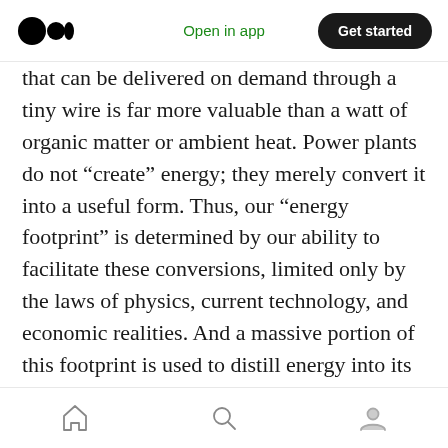Medium logo | Open in app | Get started
that can be delivered on demand through a tiny wire is far more valuable than a watt of organic matter or ambient heat. Power plants do not “create” energy; they merely convert it into a useful form. Thus, our “energy footprint” is determined by our ability to facilitate these conversions, limited only by the laws of physics, current technology, and economic realities. And a massive portion of this footprint is used to distill energy into its most fungible form: electricity.
The Age of the Electron
Home | Search | Profile